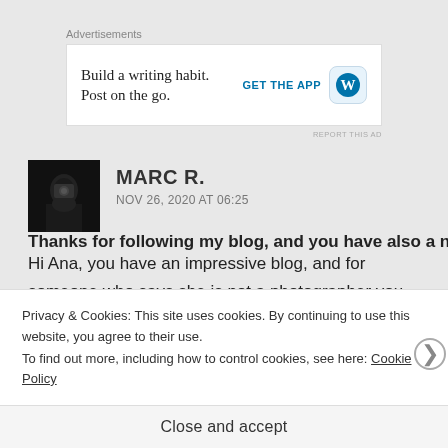Advertisements
[Figure (screenshot): Advertisement banner: 'Build a writing habit. Post on the go.' with GET THE APP button and WordPress icon]
REPORT THIS AD
[Figure (photo): Dark avatar photo of a person holding a camera]
MARC R.
NOV 26, 2020 AT 06:25
Hi Ana, you have an impressive blog, and for someone who says she is not a photographer you have great pictures !
Thanks for following my blog, and you have also a new
Privacy & Cookies: This site uses cookies. By continuing to use this website, you agree to their use.
To find out more, including how to control cookies, see here: Cookie Policy
Close and accept